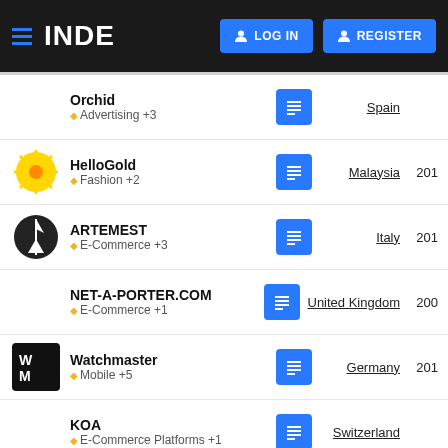INDE | LOG IN | REGISTER
Orchid | Advertising +3 | Spain
HelloGold | Fashion +2 | Malaysia | 201
ARTEMEST | E-Commerce +3 | Italy | 201
NET-A-PORTER.COM | E-Commerce +1 | United Kingdom | 200
Watchmaster | Mobile +5 | Germany | 201
KOA | E-Commerce Platforms +1 | Switzerland
Chronoexpert | E-Commerce +2 | Spain | 201
Butiq Escapes | Travel +2 | Argentina | 201